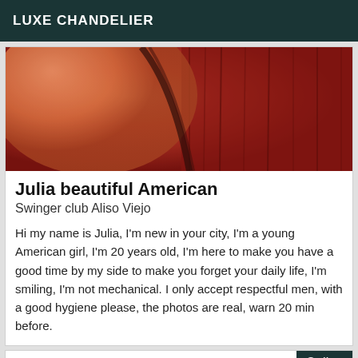LUXE CHANDELIER
[Figure (photo): Close-up photo in warm red and orange tones showing partial view of a person]
Julia beautiful American
Swinger club Aliso Viejo
Hi my name is Julia, I'm new in your city, I'm a young American girl, I'm 20 years old, I'm here to make you have a good time by my side to make you forget your daily life, I'm smiling, I'm not mechanical. I only accept respectful men, with a good hygiene please, the photos are real, warn 20 min before.
Online